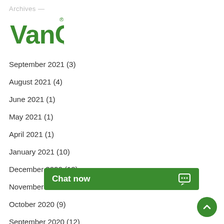Archives
[Figure (logo): VanQ logo in green with registered trademark symbol]
September 2021 (3)
August 2021 (4)
June 2021 (1)
May 2021 (1)
April 2021 (1)
January 2021 (10)
December 2020 (12)
November 2020
October 2020 (9)
September 2020 (12)